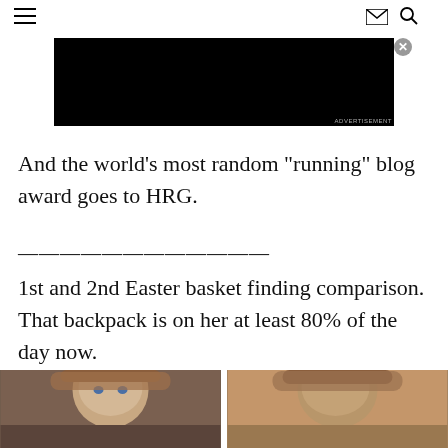Navigation header with hamburger menu, mail icon, and search icon
[Figure (infographic): Advertisement banner with multilingual 'BE SAFE' message in various languages and colors on black background]
And the world’s most random “running” blog award goes to HRG.
————————————
1st and 2nd Easter basket finding comparison.  That backpack is on her at least 80% of the day now.
[Figure (photo): Two side-by-side photos of a young child with reddish-brown hair. Left photo shows child looking at camera with blue eyes. Right photo shows child looking down.]